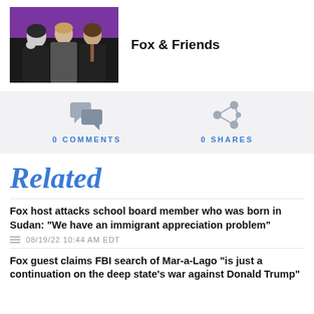[Figure (photo): Black and white photo of three TV hosts (two men in suits and a woman) against a purple background, for Fox & Friends show]
Fox & Friends
[Figure (infographic): Stats bar showing 0 COMMENTS and 0 SHARES icons]
Related
Fox host attacks school board member who was born in Sudan: “We have an immigrant appreciation problem”
08/19/22 10:44 AM EDT
Fox guest claims FBI search of Mar-a-Lago “is just a continuation on the deep state’s war against Donald Trump”